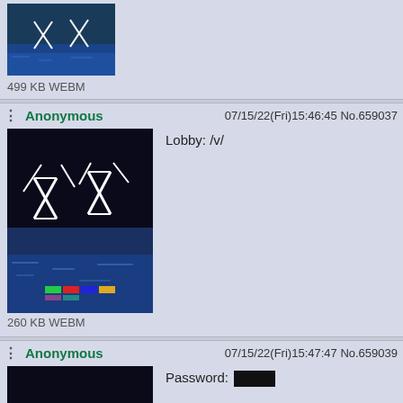[Figure (screenshot): Partial top post showing a game screenshot thumbnail and file info '499 KB WEBM']
499 KB WEBM
Anonymous  07/15/22(Fri)15:46:45 No.659037
[Figure (screenshot): Game screenshot showing boats/ships on dark water with white structural elements]
260 KB WEBM
Lobby: /v/
Anonymous  07/15/22(Fri)15:47:47 No.659039
[Figure (screenshot): Game screenshot showing boats/ships on dark water with white structural elements]
462 KB WEBM
Password: [redacted]
Anonymous  07/15/22(Fri)23:30:43 No.659503
[Figure (screenshot): Dark game screenshot thumbnail, partially visible]
GGs everyone, thank you for joining